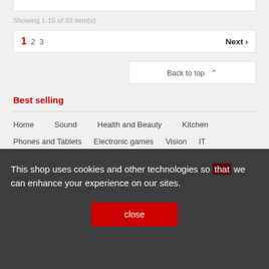Showing 1-15 of 33 item(s)
1 2 3  Next ›
Back to top ∧
Best selling
Home    Sound    Health and Beauty    Kitchen
Phones and Tablets    Electronic games    Vision    IT
This shop uses cookies and other technologies so that we can enhance your experience on our sites.
close